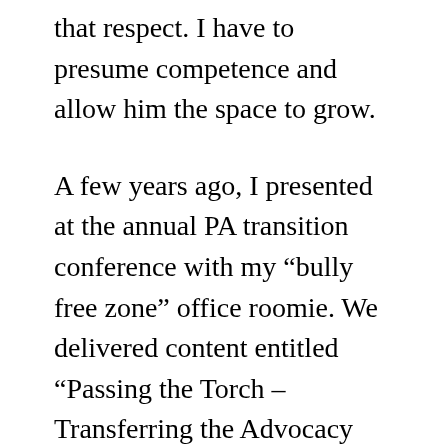that respect. I have to presume competence and allow him the space to grow.
A few years ago, I presented at the annual PA transition conference with my “bully free zone” office roomie. We delivered content entitled “Passing the Torch – Transferring the Advocacy Role.” She spoke as a clinician and educator, whereas I used my voice as someone who spent